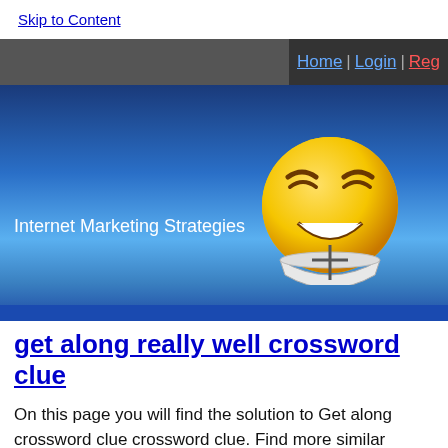Skip to Content
Home | Login | Reg...
[Figure (illustration): Website banner with blue gradient background, laughing smiley face emoji graphic, and text 'Internet Marketing Strategies']
get along really well crossword clue
On this page you will find the solution to Get along crossword clue crossword clue. Find more similar words at wordhippo.com! Updated: 7 February 2019. This clue was last seen on New York Times Crossword, July 2 2020 Crossword. (4) "How sweet ___!"